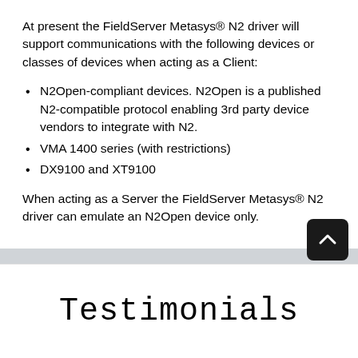At present the FieldServer Metasys® N2 driver will support communications with the following devices or classes of devices when acting as a Client:
N2Open-compliant devices. N2Open is a published N2-compatible protocol enabling 3rd party device vendors to integrate with N2.
VMA 1400 series (with restrictions)
DX9100 and XT9100
When acting as a Server the FieldServer Metasys® N2 driver can emulate an N2Open device only.
Testimonials